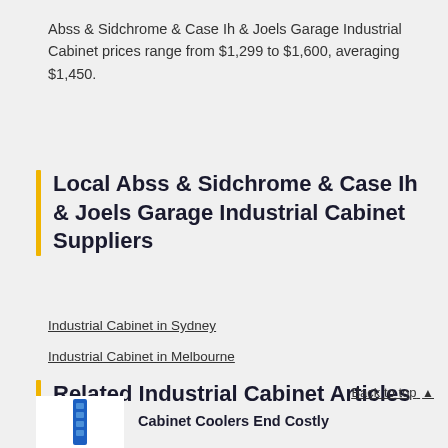Abss & Sidchrome & Case Ih & Joels Garage Industrial Cabinet prices range from $1,299 to $1,600, averaging $1,450.
Local Abss & Sidchrome & Case Ih & Joels Garage Industrial Cabinet Suppliers
Industrial Cabinet in Sydney
Industrial Cabinet in Melbourne
Related Industrial Cabinet Articles
Back to top
Cabinet Coolers End Costly